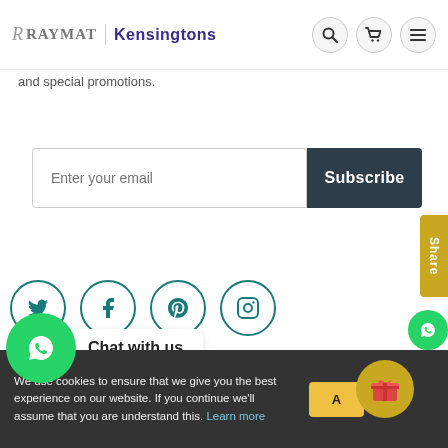Raymat | Kensingtons
and special promotions.
Enter your email
Subscribe
[Figure (logo): Social media icons: Twitter, Facebook, Pinterest, Instagram — teal circle outlines]
[Figure (illustration): WhatsApp green circle icon with phone symbol, Chat with us label]
© Raymat Textiles Limited | Powered by Shopify
We use cookies to ensure that we give you the best experience on our website. If you continue we'll assume that you are understand this. Learn more